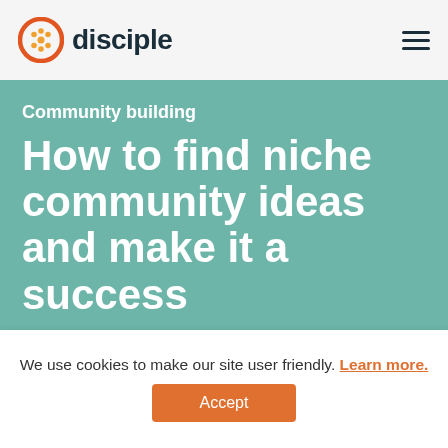disciple
Community building
How to find niche community ideas and make it a success
[Figure (photo): Man in a red t-shirt with fists raised in front of a blue painted brick wall, cropped so his face is partially out of frame above.]
We use cookies to make our site user friendly. Learn more.
Accept